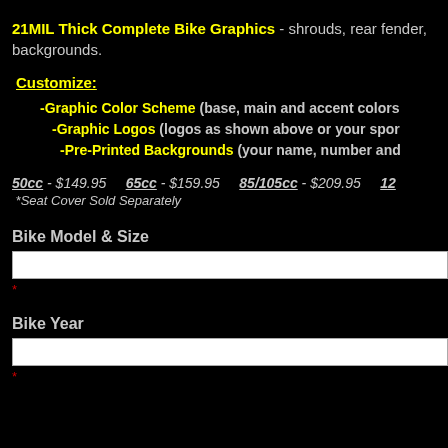21MIL Thick Complete Bike Graphics - shrouds, rear fender, backgrounds.
Customize:
-Graphic Color Scheme (base, main and accent colors)
-Graphic Logos (logos as shown above or your spon...)
-Pre-Printed Backgrounds (your name, number and...)
50cc - $149.95    65cc - $159.95    85/105cc - $209.95    12...
*Seat Cover Sold Separately
Bike Model & Size
Bike Year